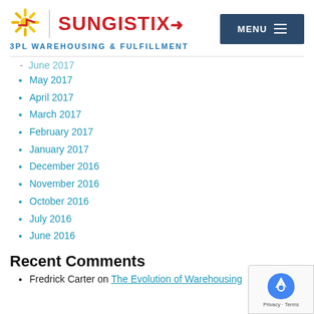SUNGISTIX 3PL WAREHOUSING & FULFILLMENT
June 2017
May 2017
April 2017
March 2017
February 2017
January 2017
December 2016
November 2016
October 2016
July 2016
June 2016
Recent Comments
Fredrick Carter on The Evolution of Warehousing